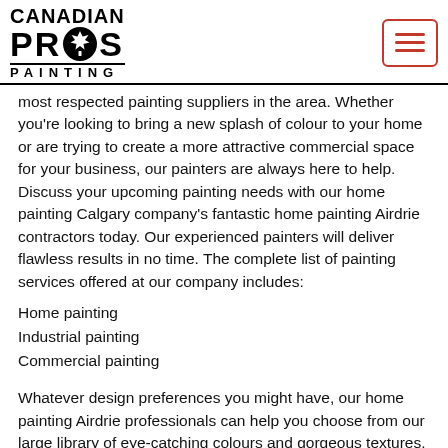[Figure (logo): Canadian Pros Painting logo — black text with maple leaf icon replacing the O in PROS]
[Figure (other): Hamburger menu button with red border and three red horizontal lines]
most respected painting suppliers in the area. Whether you're looking to bring a new splash of colour to your home or are trying to create a more attractive commercial space for your business, our painters are always here to help. Discuss your upcoming painting needs with our home painting Calgary company's fantastic home painting Airdrie contractors today. Our experienced painters will deliver flawless results in no time. The complete list of painting services offered at our company includes:
Home painting
Industrial painting
Commercial painting
Whatever design preferences you might have, our home painting Airdrie professionals can help you choose from our large library of eye-catching colours and gorgeous textures. Our top-of-the-line painting products are non-toxic, eco-friendly, safe for indoor use, odourless, and are made to resist scratches